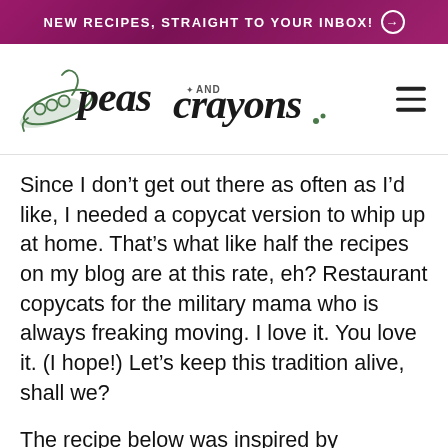NEW RECIPES, STRAIGHT TO YOUR INBOX! →
[Figure (logo): Peas and Crayons blog logo with illustrated pea pod and script/handwritten typography]
Since I don't get out there as often as I'd like, I needed a copycat version to whip up at home. That's what like half the recipes on my blog are at this rate, eh? Restaurant copycats for the military mama who is always freaking moving. I love it. You love it. (I hope!) Let's keep this tradition alive, shall we?
The recipe below was inspired by Hummus in Pensacola, FL, a Plated dish we tried a few months back, and my go to Greek Quinoa